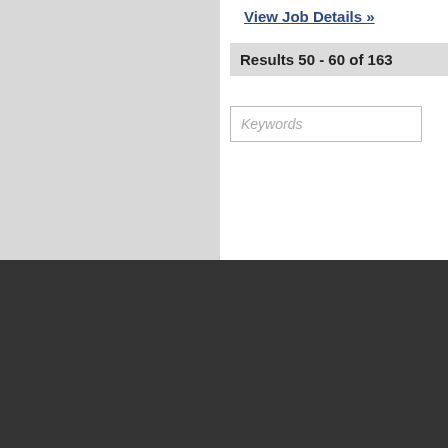View Job Details »
Results 50 - 60 of 163
Keywords
[Figure (logo): Academic Jobs logo with blue triangle icon and white text on dark background]
Academic Jobs
Academic Advertising
260 Peachtree Street, N.W.
Suite 2200
Atlanta, GA 30303
Twitter
LinkedIn
Facebook
Google Plus
Copyr